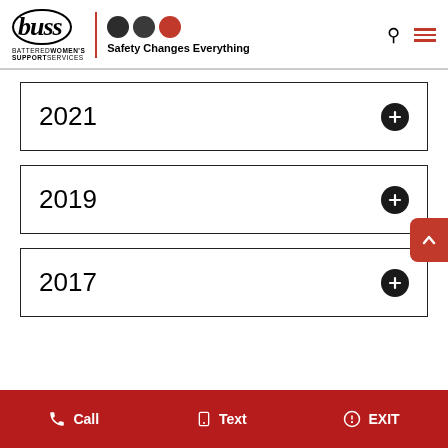BUSS - Battered Women's Support Services - Safety Changes Everything
2021
2019
2017
Call | Text | EXIT